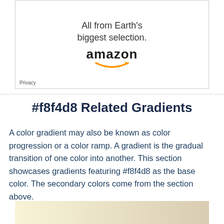[Figure (screenshot): Amazon advertisement banner showing text 'All from Earth's biggest selection.' with the Amazon logo and wordmark, and a Privacy label in the bottom-left corner.]
#f8f4d8 Related Gradients
A color gradient may also be known as color progression or a color ramp. A gradient is the gradual transition of one color into another. This section showcases gradients featuring #f8f4d8 as the base color. The secondary colors come from the section above.
[Figure (other): Color gradient swatch showing a transition from a light cream/yellow (#f8f4d8) to a muted tan/beige color.]